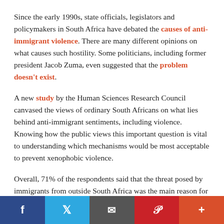Since the early 1990s, state officials, legislators and policymakers in South Africa have debated the causes of anti-immigrant violence. There are many different opinions on what causes such hostility. Some politicians, including former president Jacob Zuma, even suggested that the problem doesn't exist.
A new study by the Human Sciences Research Council canvased the views of ordinary South Africans on what lies behind anti-immigrant sentiments, including violence. Knowing how the public views this important question is vital to understanding which mechanisms would be most acceptable to prevent xenophobic violence.
Overall, 71% of the respondents said that the threat posed by immigrants from outside South Africa was the main reason for the violence. A third of people in the survey attributed violence against immigrants to the fact that foreigners would take jobs